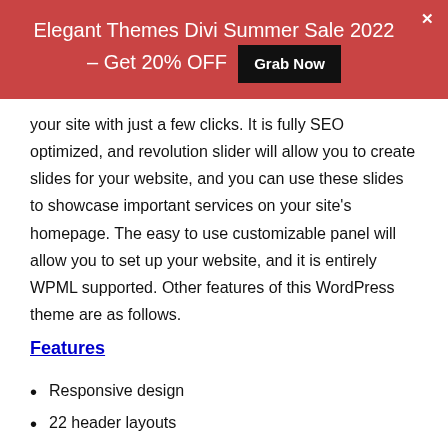Elegant Themes Divi Summer Sale 2022 – Get 20% OFF  Grab Now
your site with just a few clicks. It is fully SEO optimized, and revolution slider will allow you to create slides for your website, and you can use these slides to showcase important services on your site's homepage. The easy to use customizable panel will allow you to set up your website, and it is entirely WPML supported. Other features of this WordPress theme are as follows.
Features
Responsive design
22 header layouts
Secondary & floating navigation
Custom skin color